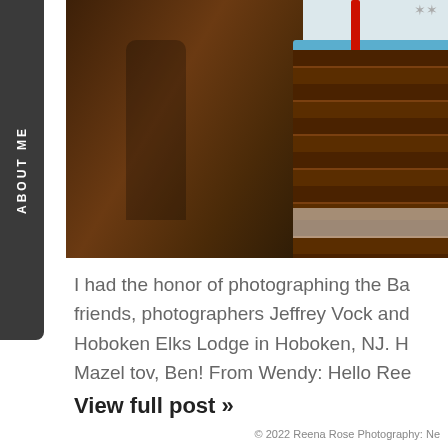[Figure (photo): Photograph of a Bar Mitzvah celebration showing a chocolate cake with blue frosting decorations and candles, set against a dark background.]
I had the honor of photographing the Ba... friends, photographers Jeffrey Vock and... Hoboken Elks Lodge in Hoboken, NJ. H... Mazel tov, Ben! From Wendy: Hello Ree...
View full post »
© 2022 Reena Rose Photography: Ne...